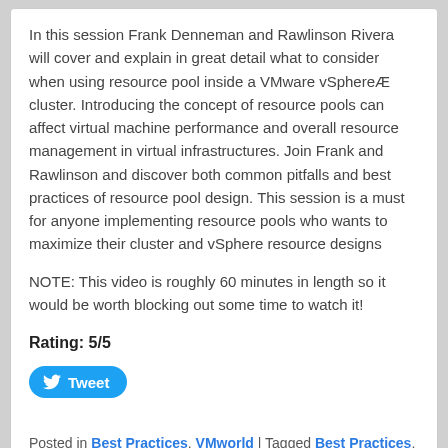In this session Frank Denneman and Rawlinson Rivera will cover and explain in great detail what to consider when using resource pool inside a VMware vSphereÆ cluster. Introducing the concept of resource pools can affect virtual machine performance and overall resource management in virtual infrastructures. Join Frank and Rawlinson and discover both common pitfalls and best practices of resource pool design. This session is a must for anyone implementing resource pools who wants to maximize their cluster and vSphere resource designs
NOTE: This video is roughly 60 minutes in length so it would be worth blocking out some time to watch it!
Rating: 5/5
[Figure (other): Tweet button with Twitter bird icon]
Posted in Best Practices, VMworld | Tagged Best Practices, VMworld